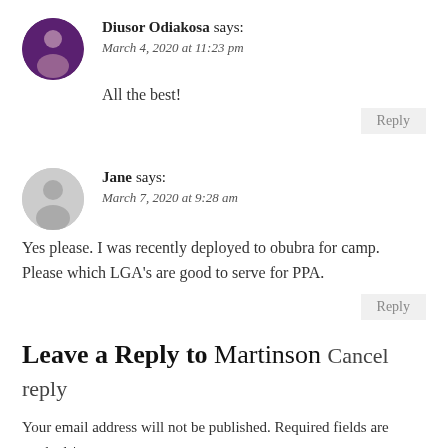Diusor Odiakosa says:
March 4, 2020 at 11:23 pm
All the best!
Reply
Jane says:
March 7, 2020 at 9:28 am
Yes please. I was recently deployed to obubra for camp. Please which LGA's are good to serve for PPA.
Reply
Leave a Reply to Martinson Cancel reply
Your email address will not be published. Required fields are marked *